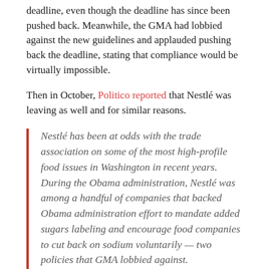deadline, even though the deadline has since been pushed back. Meanwhile, the GMA had lobbied against the new guidelines and applauded pushing back the deadline, stating that compliance would be virtually impossible.
Then in October, Politico reported that Nestlé was leaving as well and for similar reasons.
Nestlé has been at odds with the trade association on some of the most high-profile food issues in Washington in recent years. During the Obama administration, Nestlé was among a handful of companies that backed Obama administration effort to mandate added sugars labeling and encourage food companies to cut back on sodium voluntarily — two policies that GMA lobbied against.
Nestlé also helped push GMA to submit split comments on added sugars labeling to the FDA, so the association essentially included the pros and the cons of the policy rather than presenting a unified front opposing the idea.